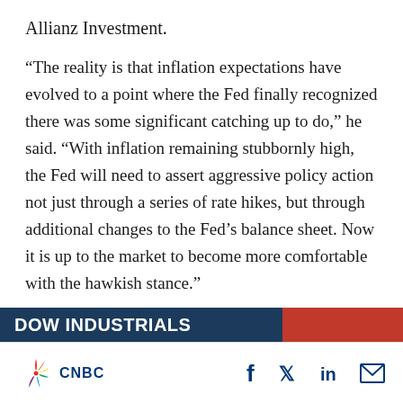Allianz Investment.
“The reality is that inflation expectations have evolved to a point where the Fed finally recognized there was some significant catching up to do,” he said. “With inflation remaining stubbornly high, the Fed will need to assert aggressive policy action not just through a series of rate hikes, but through additional changes to the Fed’s balance sheet. Now it is up to the market to become more comfortable with the hawkish stance.”
DOW INDUSTRIALS
CNBC